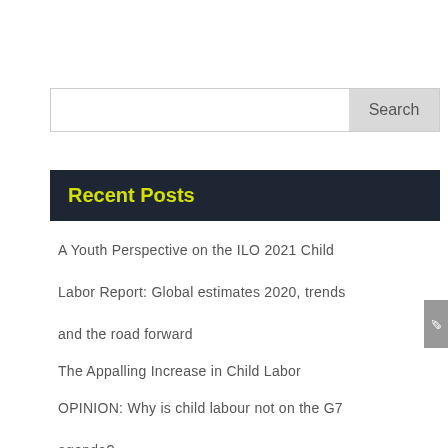Search
Recent Posts
A Youth Perspective on the ILO 2021 Child Labor Report: Global estimates 2020, trends and the road forward
The Appalling Increase in Child Labor
OPINION: Why is child labour not on the G7 agenda?